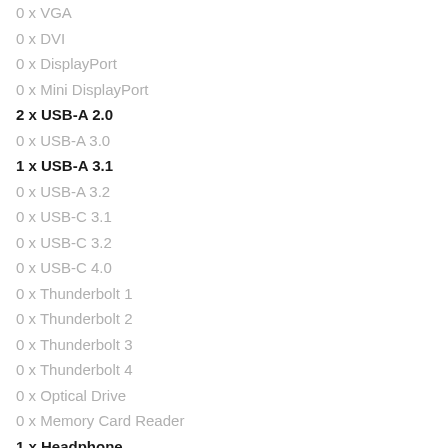0 x VGA
0 x DVI
0 x DisplayPort
0 x Mini DisplayPort
2 x USB-A 2.0
0 x USB-A 3.0
1 x USB-A 3.1
0 x USB-A 3.2
0 x USB-C 3.1
0 x USB-C 3.2
0 x USB-C 4.0
0 x Thunderbolt 1
0 x Thunderbolt 2
0 x Thunderbolt 3
0 x Thunderbolt 4
0 x Optical Drive
0 x Memory Card Reader
1 x Headphone
KEYBOARD
Keyboard: Yes
Numeric: Yes
Backlight: No